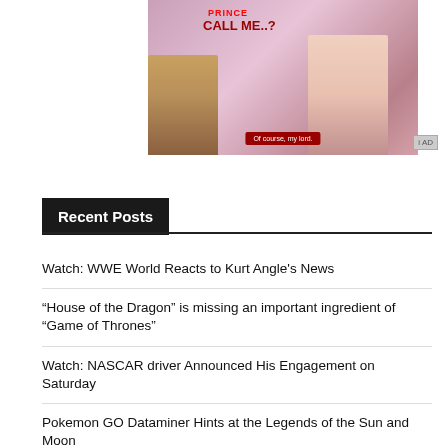[Figure (screenshot): Advertisement image showing two anime/illustrated characters with text 'PRINCE CALL ME..?' overlay in red, burgundy button, on a pink/purple background. Small AD badge in top-right corner.]
Recent Posts
Watch: WWE World Reacts to Kurt Angle's News
“House of the Dragon” is missing an important ingredient of "Game of Thrones"
Watch: NASCAR driver Announced His Engagement on Saturday
Pokemon GO Dataminer Hints at the Legends of the Sun and Moon
Samsung is preparing to make the front and back of the phone: a patent has been obtained!
Instagram has stated that it is sharing our exact location in